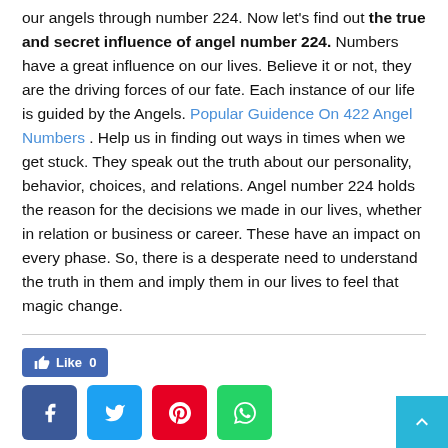our angels through number 224. Now let's find out the true and secret influence of angel number 224. Numbers have a great influence on our lives. Believe it or not, they are the driving forces of our fate. Each instance of our life is guided by the Angels. Popular Guidence On 422 Angel Numbers . Help us in finding out ways in times when we get stuck. They speak out the truth about our personality, behavior, choices, and relations. Angel number 224 holds the reason for the decisions we made in our lives, whether in relation or business or career. These have an impact on every phase. So, there is a desperate need to understand the truth in them and imply them in our lives to feel that magic change.
Like 0
[Figure (other): Social share buttons: Facebook, Twitter, Pinterest, WhatsApp]